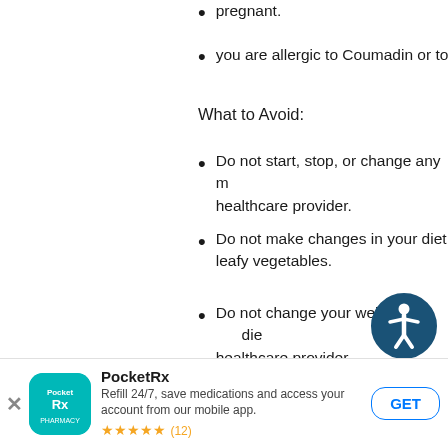pregnant.
you are allergic to Coumadin or to
What to Avoid:
Do not start, stop, or change any medicine without asking your healthcare provider.
Do not make changes in your diet, especially foods high in vitamin K, such as leafy vegetables.
Do not change your weight (diet or exercise program) without telling your healthcare provider.
Avoid drinking alcohol.
Do not do any activity or sport tha
[Figure (infographic): Accessibility icon - person in circle with dark blue border]
Some Possible Drug Interactions:
[Figure (screenshot): PocketRx app install banner at bottom. Shows app icon (teal background with PocketRx logo), name PocketRx, description 'Refill 24/7, save medications and access your account from our mobile app.', 5 star rating with (12) reviews, and GET button.]